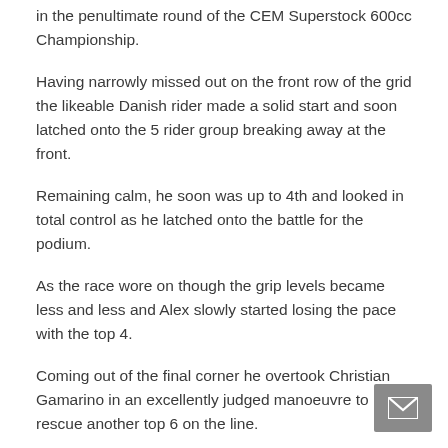in the penultimate round of the CEM Superstock 600cc Championship.
Having narrowly missed out on the front row of the grid the likeable Danish rider made a solid start and soon latched onto the 5 rider group breaking away at the front.
Remaining calm, he soon was up to 4th and looked in total control as he latched onto the battle for the podium.
As the race wore on though the grip levels became less and less and Alex slowly started losing the pace with the top 4.
Coming out of the final corner he overtook Christian Gamarino in an excellently judged manoeuvre to rescue another top 6 on the line.
In Parc Ferme, Alex was clearly in a lot of pain and it soon became clear that an injury from Silverstone last year played a